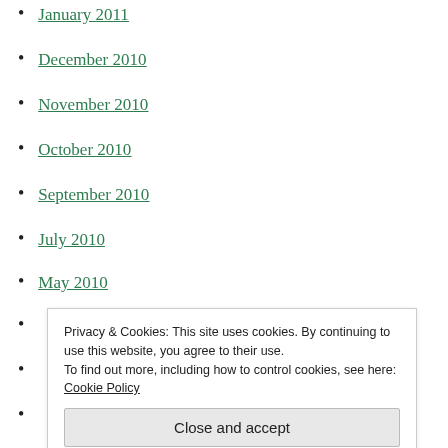January 2011
December 2010
November 2010
October 2010
September 2010
July 2010
May 2010
April 2010
March 2010
February 2010
January 2010
Privacy & Cookies: This site uses cookies. By continuing to use this website, you agree to their use. To find out more, including how to control cookies, see here: Cookie Policy
Close and accept